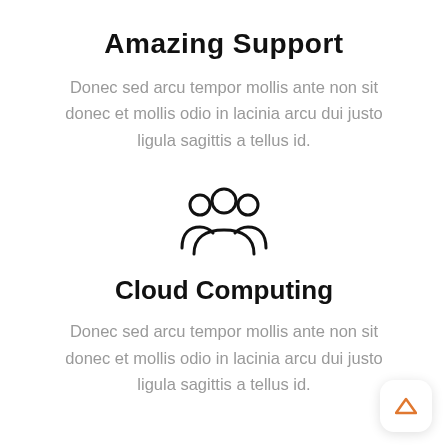Amazing Support
Donec sed arcu tempor mollis ante non sit donec et mollis odio in lacinia arcu dui justo ligula sagittis a tellus id.
[Figure (illustration): Icon of three people/users group, outline style]
Cloud Computing
Donec sed arcu tempor mollis ante non sit donec et mollis odio in lacinia arcu dui justo ligula sagittis a tellus id.